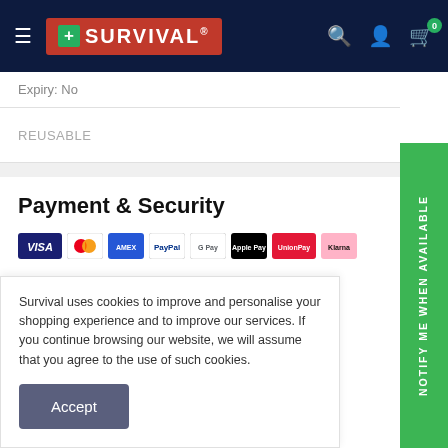SURVIVAL [navigation bar with logo, search, account, cart icons]
Expiry: No
REUSABLE
Payment & Security
Survival uses cookies to improve and personalise your shopping experience and to improve our services. If you continue browsing our website, we will assume that you agree to the use of such cookies.
Accept